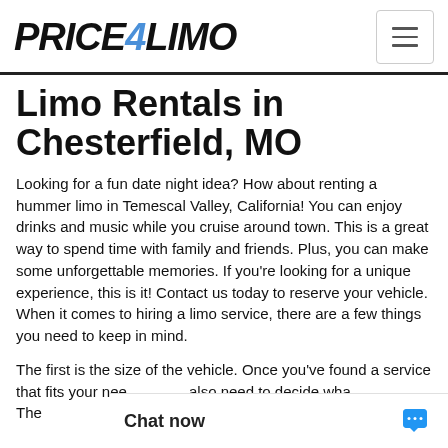PRICE4LIMO
Limo Rentals in Chesterfield, MO
Looking for a fun date night idea? How about renting a hummer limo in Temescal Valley, California! You can enjoy drinks and music while you cruise around town. This is a great way to spend time with family and friends. Plus, you can make some unforgettable memories. If you're looking for a unique experience, this is it! Contact us today to reserve your vehicle. When it comes to hiring a limo service, there are a few things you need to keep in mind.
The first is the size of the vehicle. Once you've found a service that fits your nee... also need to decide wha... The...